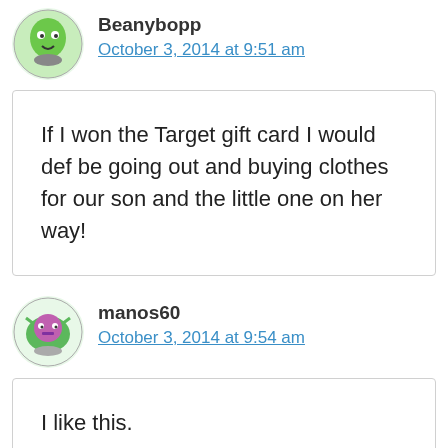Beanybopp
October 3, 2014 at 9:51 am
If I won the Target gift card I would def be going out and buying clothes for our son and the little one on her way!
manos60
October 3, 2014 at 9:54 am
I like this.